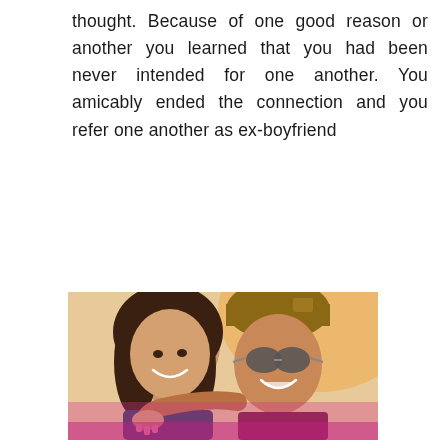thought. Because of one good reason or another you learned that you had been never intended for one another. You amicably ended the connection and you refer one another as ex-boyfriend
READ MORE
[Figure (photo): Two young women smiling and posing together. One has long dark hair and is wearing a casual jacket. The other is wearing sunglasses and a tan/khaki beanie hat. They are posed closely together with warm lighting.]